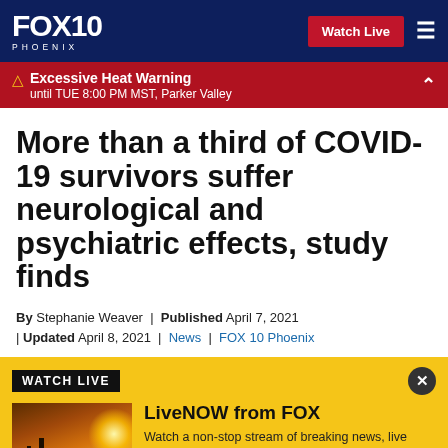FOX 10 PHOENIX | Watch Live
⚠ Excessive Heat Warning until TUE 8:00 PM MST, Parker Valley
More than a third of COVID-19 survivors suffer neurological and psychiatric effects, study finds
By Stephanie Weaver | Published April 7, 2021 | Updated April 8, 2021 | News | FOX 10 Phoenix
[Figure (screenshot): LiveNOW from FOX watch live widget on yellow background with Fox 10 Phoenix thumbnail showing sunset silhouette]
WATCH LIVE
LiveNOW from FOX
Watch a non-stop stream of breaking news, live events and stories across the nation.